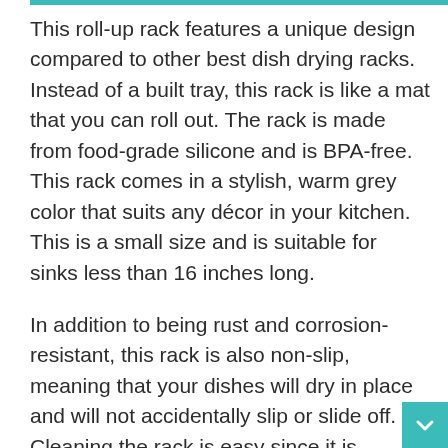This roll-up rack features a unique design compared to other best dish drying racks. Instead of a built tray, this rack is like a mat that you can roll out. The rack is made from food-grade silicone and is BPA-free. This rack comes in a stylish, warm grey color that suits any décor in your kitchen. This is a small size and is suitable for sinks less than 16 inches long.
In addition to being rust and corrosion-resistant, this rack is also non-slip, meaning that your dishes will dry in place and will not accidentally slip or slide off. Cleaning the rack is easy since it is dishwasher safe. Additionally, it